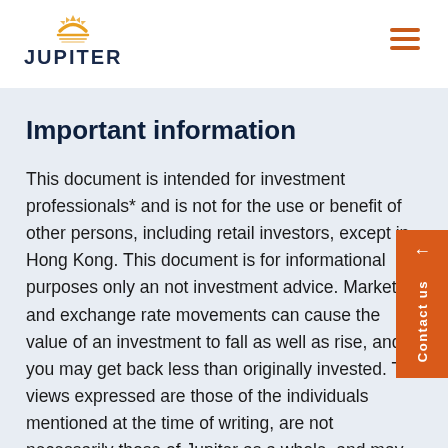JUPITER
Important information
This document is intended for investment professionals* and is not for the use or benefit of other persons, including retail investors, except in Hong Kong. This document is for informational purposes only and not investment advice. Market and exchange rate movements can cause the value of an investment to fall as well as rise, and you may get back less than originally invested. The views expressed are those of the individuals mentioned at the time of writing, are not necessarily those of Jupiter as a whole, and may be